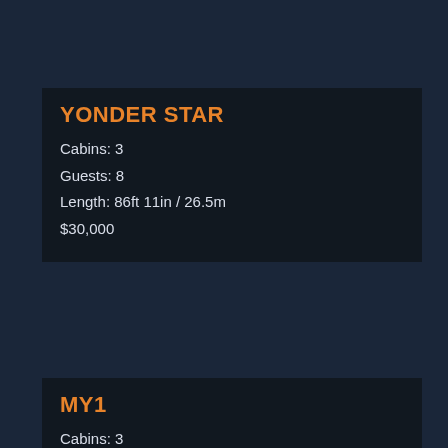YONDER STAR
Cabins: 3
Guests: 8
Length: 86ft 11in / 26.5m
$30,000
MY1
Cabins: 3
Guests: 6